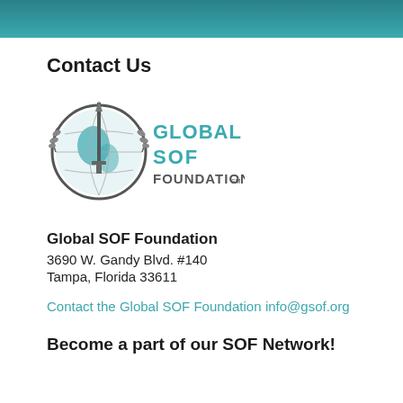Contact Us
[Figure (logo): Global SOF Foundation logo with globe and military sword imagery]
Global SOF Foundation
3690 W. Gandy Blvd. #140
Tampa, Florida 33611
Contact the Global SOF Foundation
info@gsof.org
Become a part of our SOF Network!